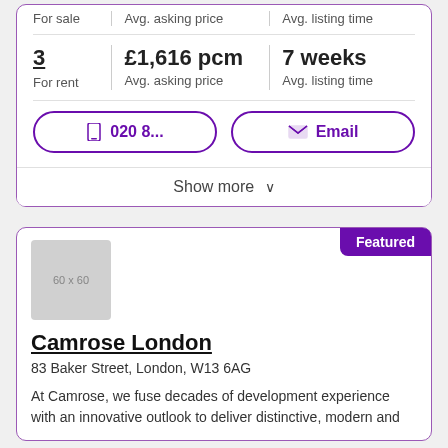For sale
Avg. asking price
Avg. listing time
3
For rent
£1,616 pcm
Avg. asking price
7 weeks
Avg. listing time
020 8...
Email
Show more
Featured
[Figure (other): Agent logo placeholder 60x60]
Camrose London
83 Baker Street, London, W13 6AG
At Camrose, we fuse decades of development experience with an innovative outlook to deliver distinctive, modern and